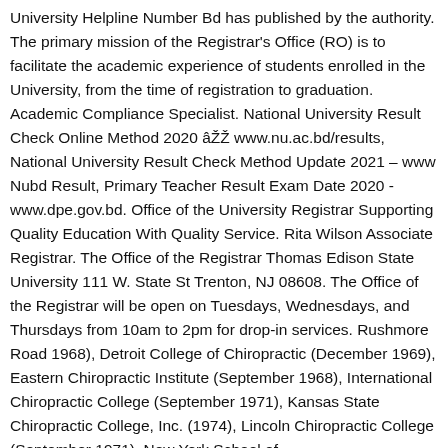University Helpline Number Bd has published by the authority. The primary mission of the Registrar's Office (RO) is to facilitate the academic experience of students enrolled in the University, from the time of registration to graduation. Academic Compliance Specialist. National University Result Check Online Method 2020 â www.nu.ac.bd/results, National University Result Check Method Update 2021 – www Nubd Result, Primary Teacher Result Exam Date 2020 -www.dpe.gov.bd. Office of the University Registrar Supporting Quality Education With Quality Service. Rita Wilson Associate Registrar. The Office of the Registrar Thomas Edison State University 111 W. State St Trenton, NJ 08608. The Office of the Registrar will be open on Tuesdays, Wednesdays, and Thursdays from 10am to 2pm for drop-in services. Rushmore Road 1968), Detroit College of Chiropractic (December 1969), Eastern Chiropractic Institute (September 1968), International Chiropractic College (September 1971), Kansas State Chiropractic College, Inc. (1974), Lincoln Chiropractic College (September 1971), New York School of